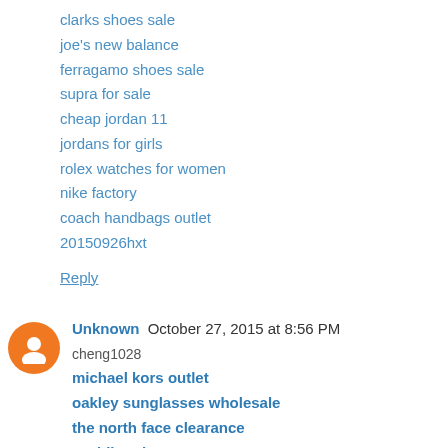clarks shoes sale
joe's new balance
ferragamo shoes sale
supra for sale
cheap jordan 11
jordans for girls
rolex watches for women
nike factory
coach handbags outlet
20150926hxt
Reply
Unknown  October 27, 2015 at 8:56 PM
cheng1028
michael kors outlet
oakley sunglasses wholesale
the north face clearance
wedding dresses
oakley sunglasses wholesale
gucci
swarovski jewelry